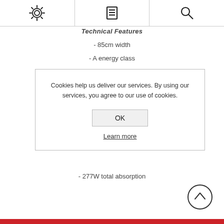[Figure (screenshot): Top navigation bar with three icons: gear/settings icon, menu/list icon, and search/magnifier icon, separated by vertical dividers]
Technical Features
- 85cm width
- A energy class
Cookies help us deliver our services. By using our services, you agree to our use of cookies.

OK

Learn more
- 277W total absorption
[Figure (illustration): Scroll-to-top button: circle with upward-pointing chevron arrow]